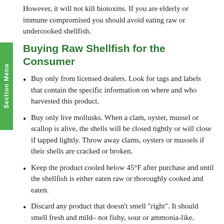However, it will not kill biotoxins. If you are elderly or immune compromised you should avoid eating raw or undercooked shellfish.
Buying Raw Shellfish for the Consumer
Buy only from licensed dealers. Look for tags and labels that contain the specific information on where and who harvested this product.
Buy only live mollusks. When a clam, oyster, mussel or scallop is alive, the shells will be closed tightly or will close if tapped lightly. Throw away clams, oysters or mussels if their shells are cracked or broken.
Keep the product cooled below 45°F after purchase and until the shellfish is either eaten raw or thoroughly cooked and eaten.
Discard any product that doesn't smell "right". It should smell fresh and mild– not fishy, sour or ammonia-like.